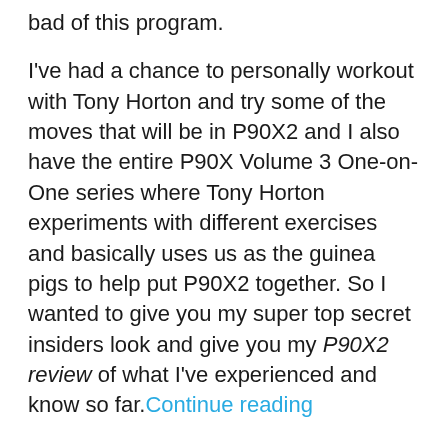bad of this program.

I've had a chance to personally workout with Tony Horton and try some of the moves that will be in P90X2 and I also have the entire P90X Volume 3 One-on-One series where Tony Horton experiments with different exercises and basically uses us as the guinea pigs to help put P90X2 together. So I wanted to give you my super top secret insiders look and give you my P90X2 review of what I've experienced and know so far. Continue reading